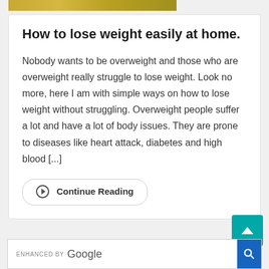[Figure (photo): Partial view of a photo strip at the top showing yellow/golden tones, cropped]
How to lose weight easily at home.
Nobody wants to be overweight and those who are overweight really struggle to lose weight. Look no more, here I am with simple ways on how to lose weight without struggling. Overweight people suffer a lot and have a lot of body issues. They are prone to diseases like heart attack, diabetes and high blood [...]
⊙  Continue Reading
◄ Older po...
[Figure (screenshot): Google search enhanced box at the bottom with ENHANCED BY Google label and a search icon button]